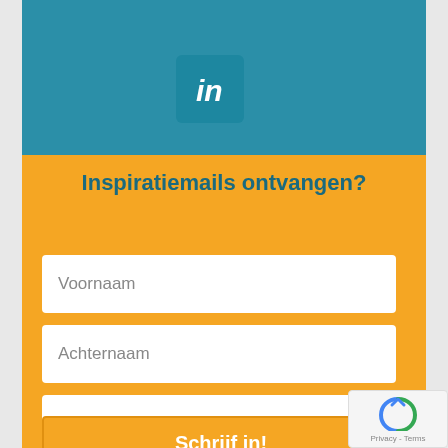[Figure (logo): LinkedIn logo icon in white on teal square background]
Inspiratiemails ontvangen?
Voornaam
Achternaam
E-mail
Schrijf in!
[Figure (logo): reCAPTCHA badge with Privacy and Terms links]